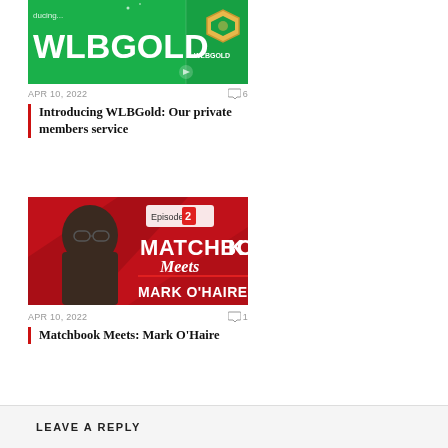[Figure (photo): WLBGold promotional image with green background showing WLBGOLD text and logo]
APR 10, 2022   💬 6
Introducing WLBGold: Our private members service
[Figure (photo): Matchbook Meets Mark O'Haire Episode 2 promotional image with red background]
APR 10, 2022   💬 1
Matchbook Meets: Mark O'Haire
LEAVE A REPLY